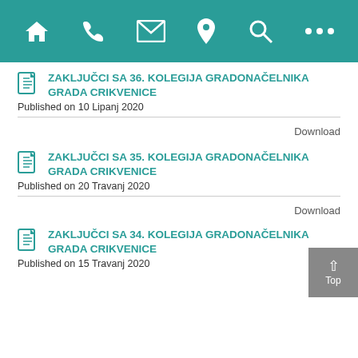Navigation bar with home, phone, mail, location, search, more icons
ZAKLJUČCI SA 36. KOLEGIJA GRADONAČELNIKA GRADA CRIKVENICE
Published on 10 Lipanj 2020
Download
ZAKLJUČCI SA 35. KOLEGIJA GRADONAČELNIKA GRADA CRIKVENICE
Published on 20 Travanj 2020
Download
ZAKLJUČCI SA 34. KOLEGIJA GRADONAČELNIKA GRADA CRIKVENICE
Published on 15 Travanj 2020